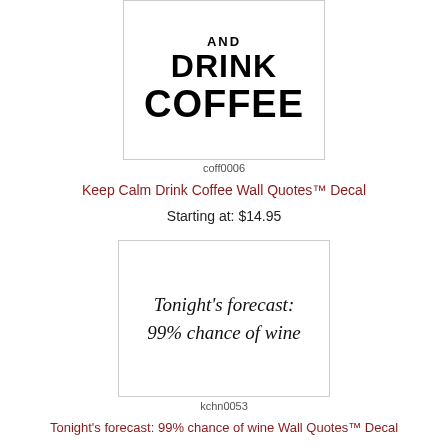[Figure (illustration): Product image showing bold black text on white background reading AND DRINK COFFEE]
coff0006
Keep Calm Drink Coffee Wall Quotes™ Decal
Starting at: $14.95
[Figure (illustration): Product image showing script/cursive text on white background reading Tonight's forecast: 99% chance of wine]
kchn0053
Tonight's forecast: 99% chance of wine Wall Quotes™ Decal